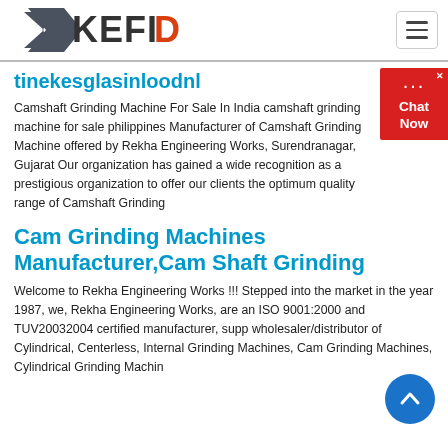[Figure (logo): KEFID logo with angular grey/dark shape and orange/red lettering]
tinekesglasinloodnl
Camshaft Grinding Machine For Sale In India camshaft grinding machine for sale philippines Manufacturer of Camshaft Grinding Machine offered by Rekha Engineering Works, Surendranagar, Gujarat Our organization has gained a wide recognition as a prestigious organization to offer our clients the optimum quality range of Camshaft Grinding
Cam Grinding Machines Manufacturer,Cam Shaft Grinding
Welcome to Rekha Engineering Works !!! Stepped into the market in the year 1987, we, Rekha Engineering Works, are an ISO 9001:2000 and TUV20032004 certified manufacturer, supp wholesaler/distributor of Cylindrical, Centerless, Internal Grinding Machines, Cam Grinding Machines, Cylindrical Grinding Machin